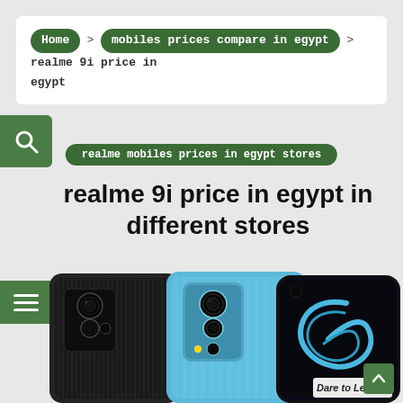Home > mobiles prices compare in egypt > realme 9i price in egypt
realme mobiles prices in egypt stores
realme 9i price in egypt in different stores
[Figure (photo): Photo of three realme 9i smartphones — one black and two blue — showing back and front views. The front display shows a decorative '9' logo with the text 'Dare to Leap.' on a white label in the lower right.]